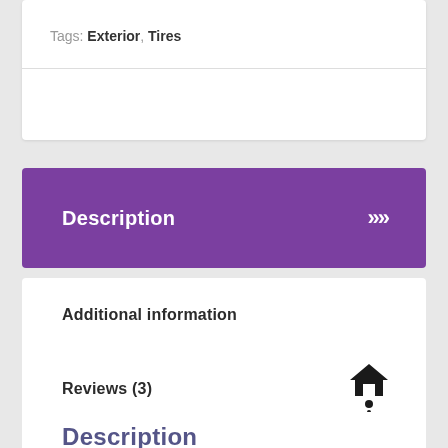Tags: Exterior, Tires
Description
Additional information
Reviews (3)
Description